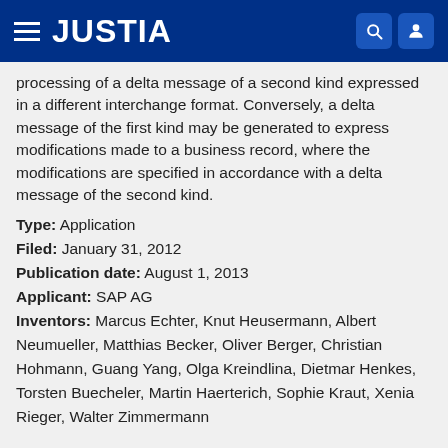JUSTIA
processing of a delta message of a second kind expressed in a different interchange format. Conversely, a delta message of the first kind may be generated to express modifications made to a business record, where the modifications are specified in accordance with a delta message of the second kind.
Type: Application
Filed: January 31, 2012
Publication date: August 1, 2013
Applicant: SAP AG
Inventors: Marcus Echter, Knut Heusermann, Albert Neumueller, Matthias Becker, Oliver Berger, Christian Hohmann, Guang Yang, Olga Kreindlina, Dietmar Henkes, Torsten Buecheler, Martin Haerterich, Sophie Kraut, Xenia Rieger, Walter Zimmermann